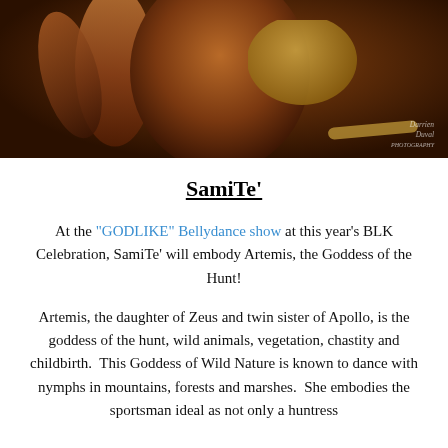[Figure (photo): A belly dancer in dark costume with gold coin jewelry photographed against a dark background. Photographer watermark reads 'Darrien Duval' in bottom right corner.]
SamiTe'
At the "GODLIKE" Bellydance show at this year's BLK Celebration, SamiTe' will embody Artemis, the Goddess of the Hunt!
Artemis, the daughter of Zeus and twin sister of Apollo, is the goddess of the hunt, wild animals, vegetation, chastity and childbirth.  This Goddess of Wild Nature is known to dance with nymphs in mountains, forests and marshes.  She embodies the sportsman ideal as not only a huntress